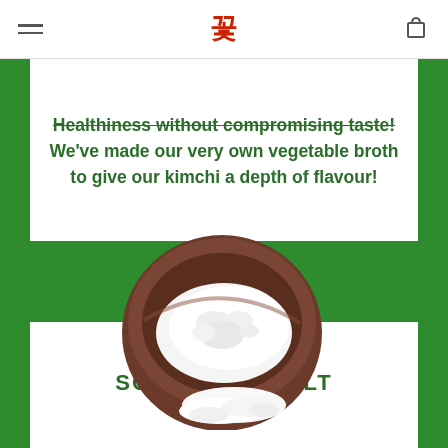Navigation header with menu icon, logo, and cart icon
Healthiness without compromising taste! We've made our very own vegetable broth to give our kimchi a depth of flavour!
[Figure (photo): A wooden bowl filled with white salt (Korean solar sea salt), with some salt spilled out in front, on a green background]
KOREAN SOLAR SEA SALT